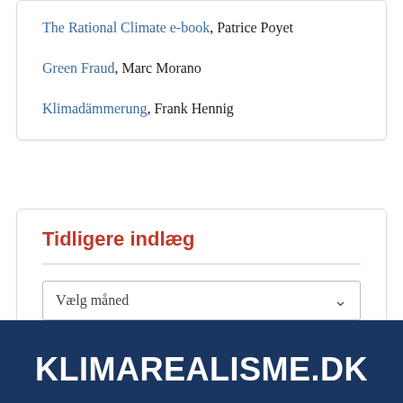The Rational Climate e-book, Patrice Poyet
Green Fraud, Marc Morano
Klimadämmerung, Frank Hennig
Tidligere indlæg
Vælg måned
KLIMAREALISME.DK